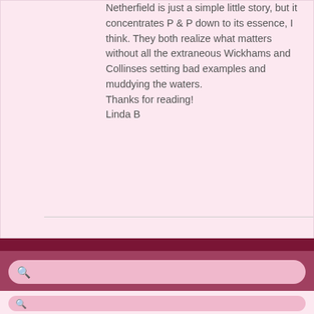Netherfield is just a simple little story, but it concentrates P & P down to its essence, I think. They both realize what matters without all the extraneous Wickhams and Collinses setting bad examples and muddying the waters.
Thanks for reading!
Linda B
Comments are closed.